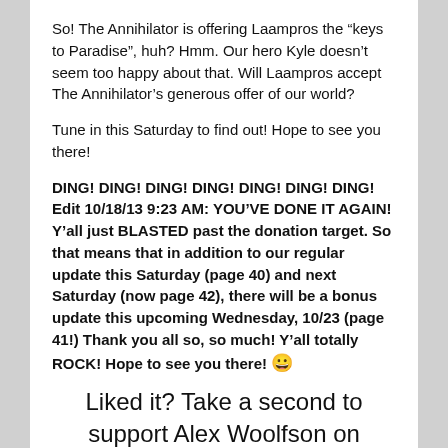So! The Annihilator is offering Laampros the “keys to Paradise”, huh? Hmm. Our hero Kyle doesn’t seem too happy about that. Will Laampros accept The Annihilator’s generous offer of our world?
Tune in this Saturday to find out! Hope to see you there!
DING! DING! DING! DING! DING! DING! DING! Edit 10/18/13 9:23 AM: YOU’VE DONE IT AGAIN! Y’all just BLASTED past the donation target. So that means that in addition to our regular update this Saturday (page 40) and next Saturday (now page 42), there will be a bonus update this upcoming Wednesday, 10/23 (page 41!) Thank you all so, so much! Y’all totally ROCK! Hope to see you there! 😀
Liked it? Take a second to support Alex Woolfson on Patreon!